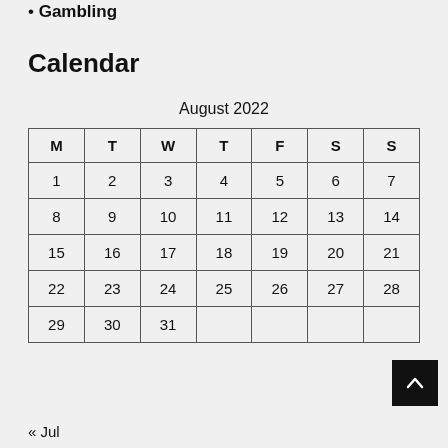Gambling
Calendar
August 2022
| M | T | W | T | F | S | S |
| --- | --- | --- | --- | --- | --- | --- |
| 1 | 2 | 3 | 4 | 5 | 6 | 7 |
| 8 | 9 | 10 | 11 | 12 | 13 | 14 |
| 15 | 16 | 17 | 18 | 19 | 20 | 21 |
| 22 | 23 | 24 | 25 | 26 | 27 | 28 |
| 29 | 30 | 31 |  |  |  |  |
« Jul